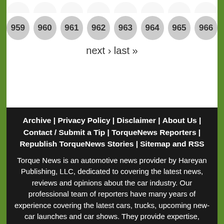[Figure (other): Pagination row of greyed-out circular numbered buttons at the top (partially visible): 959, 960, 961, 962, 963, 964, 965, 966]
next › last »
Archive | Privacy Policy | Disclaimer | About Us | Contact / Submit a Tip | TorqueNews Reporters | Republish TorqueNews Stories | Sitemap and RSS
Torque News is an automotive news provider by Hareyan Publishing, LLC, dedicated to covering the latest news, reviews and opinions about the car industry. Our professional team of reporters have many years of experience covering the latest cars, trucks, upcoming new-car launches and car shows. They provide expertise, authority and trustworthiness in covering automotive news. Torque News provides a fresh perspective not found on other auto websites with unique pieces on design, international events, product news and industry trends. TorqueNews.com offers a new look at the